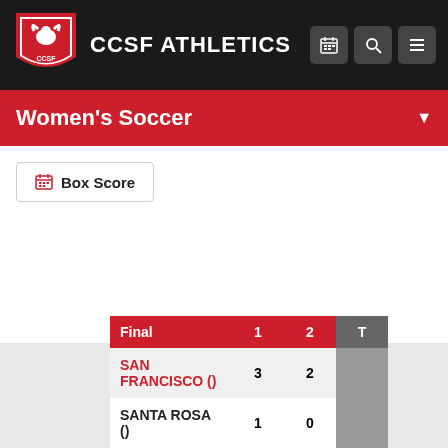[Figure (logo): CCSF Athletics logo shield with ram]
CCSF ATHLETICS
Women's Soccer
Box Score
| Final | 1 | 2 | T |
| --- | --- | --- | --- |
| SAN FRANCISCO () | 3 | 2 |  |
| SANTA ROSA () | 1 | 0 |  |